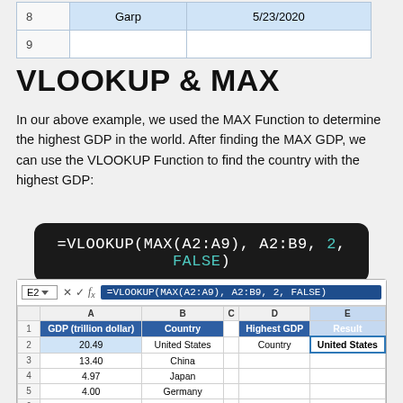|  |  |  |
| --- | --- | --- |
| 8 | Garp | 5/23/2020 |
| 9 |  |  |
VLOOKUP & MAX
In our above example, we used the MAX Function to determine the highest GDP in the world. After finding the MAX GDP, we can use the VLOOKUP Function to find the country with the highest GDP:
[Figure (screenshot): Excel spreadsheet showing E2 cell selected with formula =VLOOKUP(MAX(A2:A9), A2:B9, 2, FALSE). Columns A (GDP trillion dollar) and B (Country) with data: 20.49 United States, 13.40 China, 4.97 Japan, 4.00 Germany, 2.83 United Kingdom, 2.78 France, 2.72 India. Columns D (Highest GDP) and E (Result) showing Country / United States.]